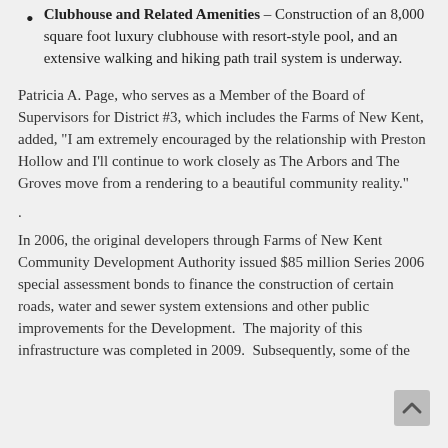Clubhouse and Related Amenities – Construction of an 8,000 square foot luxury clubhouse with resort-style pool, and an extensive walking and hiking path trail system is underway.
Patricia A. Page, who serves as a Member of the Board of Supervisors for District #3, which includes the Farms of New Kent, added, “I am extremely encouraged by the relationship with Preston Hollow and I’ll continue to work closely as The Arbors and The Groves move from a rendering to a beautiful community reality.”
.
In 2006, the original developers through Farms of New Kent Community Development Authority issued $85 million Series 2006 special assessment bonds to finance the construction of certain roads, water and sewer system extensions and other public improvements for the Development.  The majority of this infrastructure was completed in 2009.  Subsequently, some of the